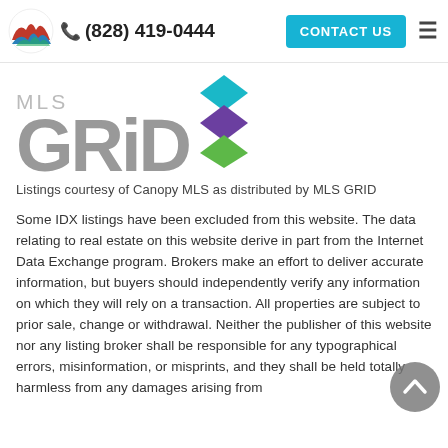(828) 419-0444  CONTACT US
[Figure (logo): MLS GRID logo with stacked diamond shapes in teal, purple, and green, with large grey 'GRID' text and smaller grey 'MLS' text]
Listings courtesy of Canopy MLS as distributed by MLS GRID
Some IDX listings have been excluded from this website. The data relating to real estate on this website derive in part from the Internet Data Exchange program. Brokers make an effort to deliver accurate information, but buyers should independently verify any information on which they will rely on a transaction. All properties are subject to prior sale, change or withdrawal. Neither the publisher of this website nor any listing broker shall be responsible for any typographical errors, misinformation, or misprints, and they shall be held totally harmless from any damages arising from